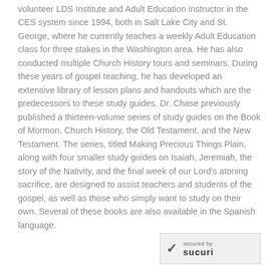volunteer LDS Institute and Adult Education instructor in the CES system since 1994, both in Salt Lake City and St. George, where he currently teaches a weekly Adult Education class for three stakes in the Washington area. He has also conducted multiple Church History tours and seminars. During these years of gospel teaching, he has developed an extensive library of lesson plans and handouts which are the predecessors to these study guides. Dr. Chase previously published a thirteen-volume series of study guides on the Book of Mormon, Church History, the Old Testament, and the New Testament. The series, titled Making Precious Things Plain, along with four smaller study guides on Isaiah, Jeremiah, the story of the Nativity, and the final week of our Lord's atoning sacrifice, are designed to assist teachers and students of the gospel, as well as those who simply want to study on their own. Several of these books are also available in the Spanish language.
[Figure (logo): Sucuri security badge with checkmark, 'secured by' text, and 'sucuri' logo in bold]